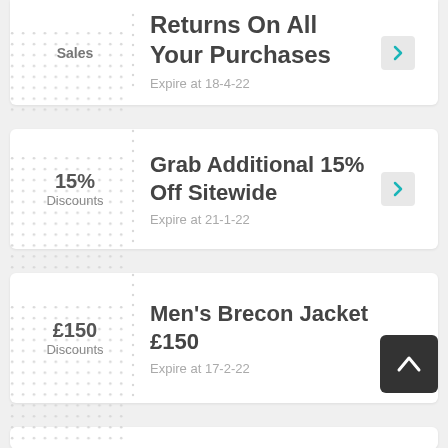Sales
Returns On All Your Purchases
Expire at 18-4-22
15%
Discounts
Grab Additional 15% Off Sitewide
Expire at 21-1-22
£150
Discounts
Men's Brecon Jacket £150
Expire at 17-2-22